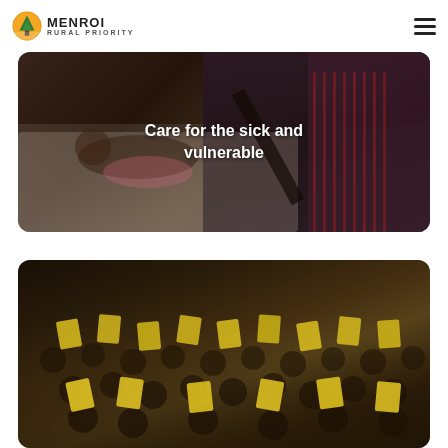[Figure (logo): MENROI Rural Priority logo with circular icon showing green mountain/tree motif on orange background]
[Figure (photo): A child lying in a hospital bed with a caregiver or nurse attending, dark moody tones]
Care for the sick and vulnerable
[Figure (photo): A crowd of children/students holding up yellow books or booklets in a large room]